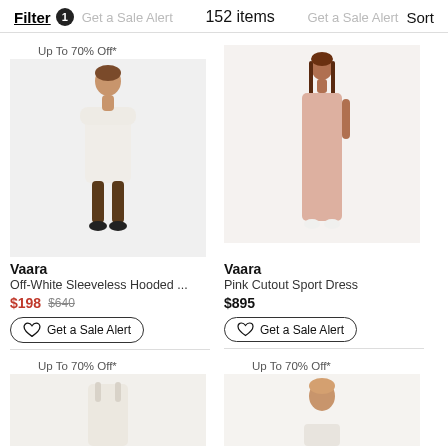Filter 1  Get a Sale Alert  152 items  Get a Sale Alert  Sort
Up To 70% Off*
[Figure (photo): Model wearing off-white sleeveless hooded dress with brown pants and black shoes]
Vaara
Off-White Sleeveless Hooded ...
$198 $640
Get a Sale Alert
[Figure (photo): Model wearing pink cutout sport dress, floor length]
Vaara
Pink Cutout Sport Dress
$895
Get a Sale Alert
Up To 70% Off*
[Figure (photo): Partial view of white garment on model, cropped]
Up To 70% Off*
[Figure (photo): Partial view of model with light hair wearing light garment, cropped]